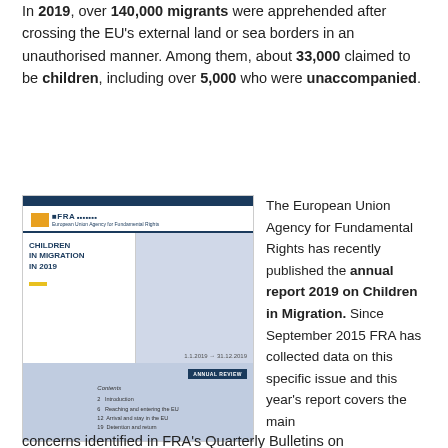In 2019, over 140,000 migrants were apprehended after crossing the EU's external land or sea borders in an unauthorised manner. Among them, about 33,000 claimed to be children, including over 5,000 who were unaccompanied.
[Figure (photo): Cover image of FRA annual report 'Children in Migration in 2019', showing the report's table of contents page with sections including Introduction, Reaching and entering the EU, Arrival and stay in the EU, Detention and return.]
The European Union Agency for Fundamental Rights has recently published the annual report 2019 on Children in Migration. Since September 2015 FRA has collected data on this specific issue and this year's report covers the main concerns identified in FRA's Quarterly Bulletins on
concerns identified in FRA's Quarterly Bulletins on